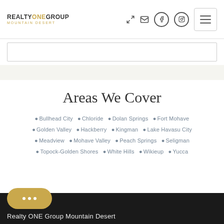REALTY ONE GROUP MOUNTAIN DESERT
Areas We Cover
Bullhead City
Chloride
Dolan Springs
Fort Mohave
Golden Valley
Hackberry
Kingman
Lake Havasu City
Meadview
Mohave Valley
Peach Springs
Seligman
Topock-Golden Shores
White Hills
Wikieup
Yucca
Realty ONE Group Mountain Desert